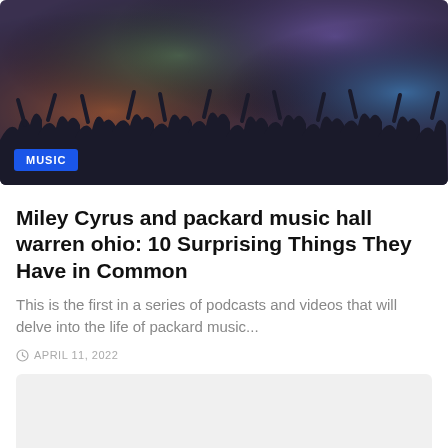[Figure (photo): Concert crowd silhouettes with colorful stage lighting in shades of orange, green, purple, and blue. People raising hands at a music event.]
Miley Cyrus and packard music hall warren ohio: 10 Surprising Things They Have in Common
This is the first in a series of podcasts and videos that will delve into the life of packard music...
APRIL 11, 2022
[Figure (photo): Partially visible second article card with gray/light background]